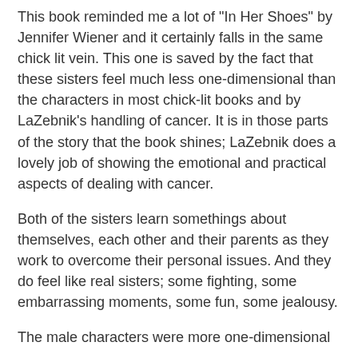This book reminded me a lot of "In Her Shoes" by Jennifer Wiener and it certainly falls in the same chick lit vein. This one is saved by the fact that these sisters feel much less one-dimensional than the characters in most chick-lit books and by LaZebnik's handling of cancer. It is in those parts of the story that the book shines; LaZebnik does a lovely job of showing the emotional and practical aspects of dealing with cancer.
Both of the sisters learn somethings about themselves, each other and their parents as they work to overcome their personal issues. And they do feel like real sisters; some fighting, some embarrassing moments, some fun, some jealousy.
The male characters were more one-dimensional and I really didn't buy that the sisters would be attracted to these guys for anything other than their looks. But at least the girls' father turned out to have some redeeming qualities.
It's mostly light and it's mostly fun--the beach read you didn't get to this summer.